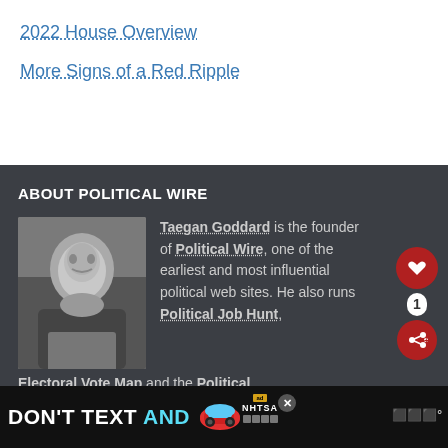2022 House Overview
More Signs of a Red Ripple
ABOUT POLITICAL WIRE
[Figure (photo): Black and white headshot of Taegan Goddard, a man in a suit smiling]
Taegan Goddard is the founder of Political Wire, one of the earliest and most influential political web sites. He also runs Political Job Hunt, Electoral Vote Map and the Political Dict...
[Figure (infographic): Advertisement banner: DON'T TEXT AND [car emoji] with ad badge and NHTSA logo, close button, and mute icon]